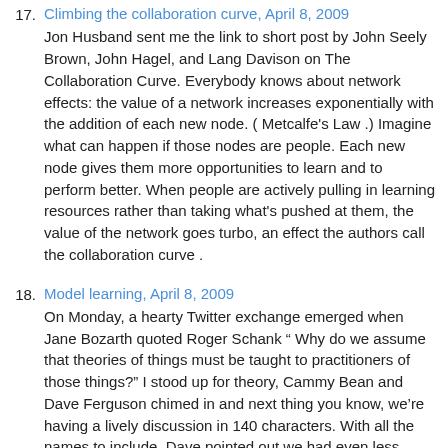17. Climbing the collaboration curve, April 8, 2009 — Jon Husband sent me the link to short post by John Seely Brown, John Hagel, and Lang Davison on The Collaboration Curve. Everybody knows about network effects: the value of a network increases exponentially with the addition of each new node. ( Metcalfe's Law .) Imagine what can happen if those nodes are people. Each new node gives them more opportunities to learn and to perform better. When people are actively pulling in learning resources rather than taking what's pushed at them, the value of the network goes turbo, an effect the authors call the collaboration curve .
18. Model learning, April 8, 2009 — On Monday, a hearty Twitter exchange emerged when Jane Bozarth quoted Roger Schank " Why do we assume that theories of things must be taught to practitioners of those things?" I stood up for theory, Cammy Bean and Dave Ferguson chimed in and next thing you know, we're having a lively discussion in 140 characters. With all the names to include, Dave pointed out we had even less space! One side was